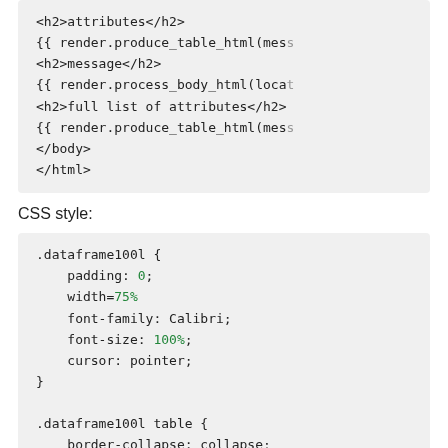[Figure (screenshot): Code block showing HTML template snippet with h2 tags and render.produce_table_html and render.process_body_html template tags, ending with closing body and html tags.]
CSS style:
[Figure (screenshot): Code block showing CSS style for .dataframe100l class with properties: padding: 0; width=75%; font-family: Calibri; font-size: 100%; cursor: pointer; and .dataframe100l table with border-collapse: collapse; text-align: left;]